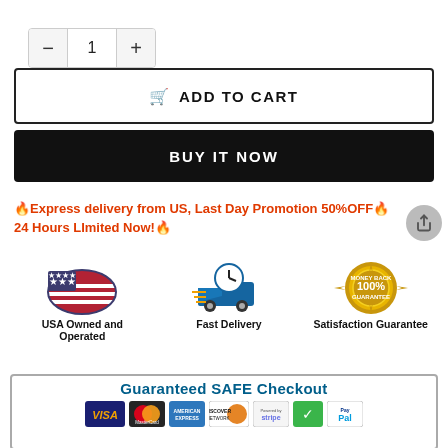[Figure (screenshot): Quantity selector with minus button, value 1, and plus button]
ADD TO CART
BUY IT NOW
🔥Express delivery from US, Last Day Promotion 50%OFF🔥24 Hours LImited Now!🔥
[Figure (infographic): Three trust badges: USA Owned and Operated with US flag icon, Fast Delivery with clock/truck icon, Satisfaction Guarantee with 100% money back seal]
[Figure (infographic): Guaranteed SAFE Checkout banner with payment icons: VISA, MasterCard, American Express, Discover Network, Stripe, checkmark shield, PayPal]